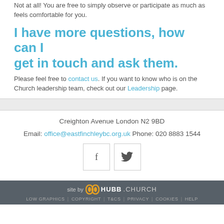I have more questions, how can I get in touch and ask them.
Not at all! You are free to simply observe or participate as much as feels comfortable for you.
Please feel free to contact us. If you want to know who is on the Church leadership team, check out our Leadership page.
Creighton Avenue London N2 9BD
Email: office@eastfinchleybc.org.uk Phone: 020 8883 1544
site by HUBB.CHURCH
LOW GRAPHICS | COPYRIGHT | T&CS | PRIVACY | COOKIES | HELP